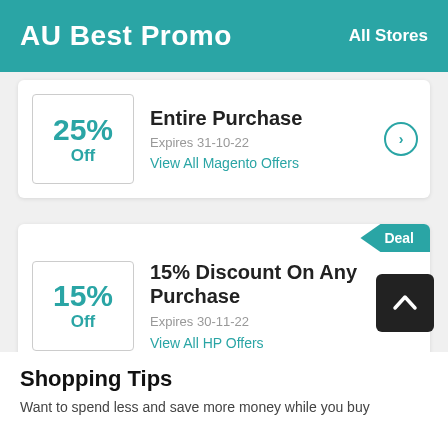AU Best Promo  All Stores
25% Off  Entire Purchase  Expires 31-10-22  View All Magento Offers
15% Off  15% Discount On Any Purchase  Expires 30-11-22  View All HP Offers
Shopping Tips
Want to spend less and save more money while you buy